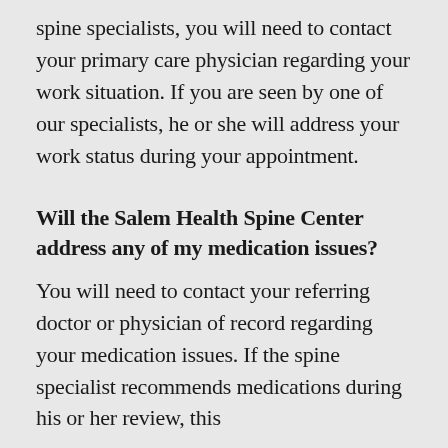spine specialists, you will need to contact your primary care physician regarding your work situation. If you are seen by one of our specialists, he or she will address your work status during your appointment.
Will the Salem Health Spine Center address any of my medication issues?
You will need to contact your referring doctor or physician of record regarding your medication issues. If the spine specialist recommends medications during his or her review, this